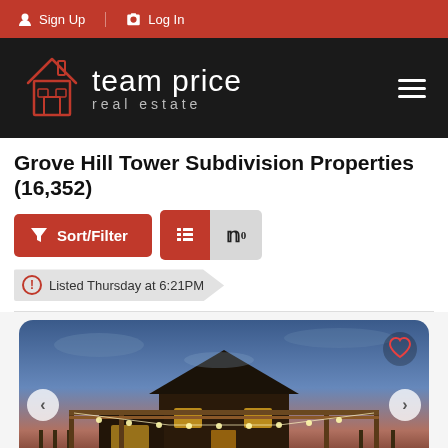Sign Up | Log In
[Figure (logo): Team Price Real Estate logo — house icon outline in red/orange on black background with text 'team price real estate']
Grove Hill Tower Subdivision Properties (16,352)
Sort/Filter | List view | Map view buttons
Listed Thursday at 6:21PM
[Figure (photo): Dusk exterior photo of a house with a pergola, string lights, and outdoor seating area under a blue-orange evening sky]